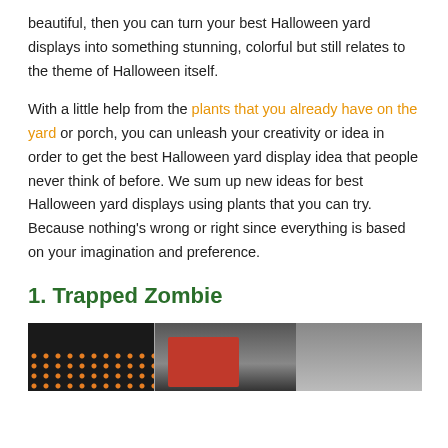beautiful, then you can turn your best Halloween yard displays into something stunning, colorful but still relates to the theme of Halloween itself.
With a little help from the plants that you already have on the yard or porch, you can unleash your creativity or idea in order to get the best Halloween yard display idea that people never think of before. We sum up new ideas for best Halloween yard displays using plants that you can try. Because nothing's wrong or right since everything is based on your imagination and preference.
1. Trapped Zombie
[Figure (photo): A photo showing a zombie figure in a Halloween yard display, with orange lights/decorations on the left side and a dark background. Two panels visible.]